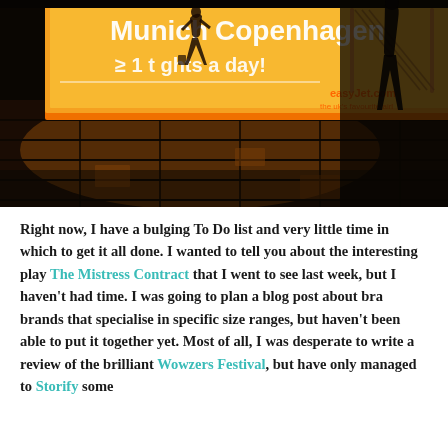[Figure (photo): Dark atmospheric photo of an airport or train station interior at night. A silhouetted person walks past a large illuminated orange/yellow advertisement billboard reading 'Munich Copenhagen ... flights a day! easyJet.com'. The floor is dark stone with orange reflections. Another figure visible on the right side. Escalator visible in background right.]
Right now, I have a bulging To Do list and very little time in which to get it all done. I wanted to tell you about the interesting play The Mistress Contract that I went to see last week, but I haven't had time. I was going to plan a blog post about bra brands that specialise in specific size ranges, but haven't been able to put it together yet. Most of all, I was desperate to write a review of the brilliant Wowzers Festival, but have only managed to Storify some